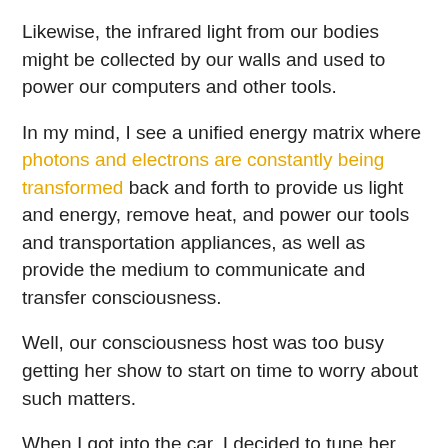Likewise, the infrared light from our bodies might be collected by our walls and used to power our computers and other tools.
In my mind, I see a unified energy matrix where photons and electrons are constantly being transformed back and forth to provide us light and energy, remove heat, and power our tools and transportation appliances, as well as provide the medium to communicate and transfer consciousness.
Well, our consciousness host was too busy getting her show to start on time to worry about such matters.
When I got into the car, I decided to tune her show in, and I'm glad I did. Her call-in guest was talking about feeling and thinking and she said something that has been running around in my mind ever since.
She said that, "we are not thinking beings that feel, we are feeling beings that think".
And it is...